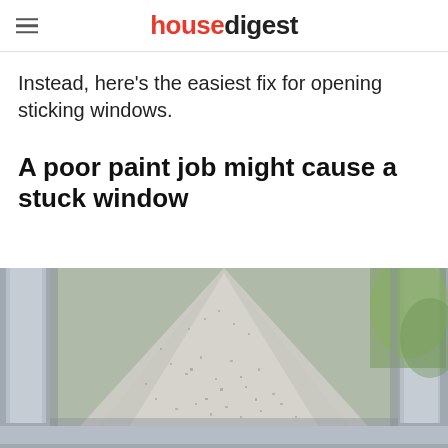housedigest
Instead, here's the easiest fix for opening sticking windows.
A poor paint job might cause a stuck window
[Figure (photo): Close-up photo of a frosted or painted window pane with condensation/paint texture, framed by a grey window frame, with green foliage visible outside.]